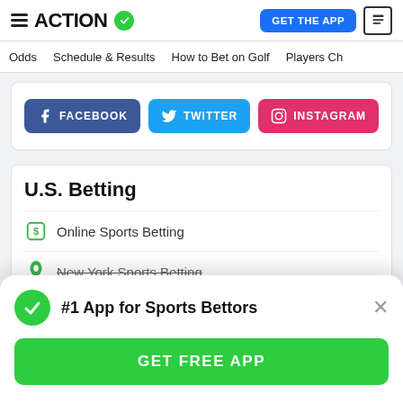ACTION [logo with green checkmark]
GET THE APP | news icon
Odds | Schedule & Results | How to Bet on Golf | Players Ch
[Figure (screenshot): Social share buttons: FACEBOOK (dark blue), TWITTER (light blue), INSTAGRAM (pink/red)]
U.S. Betting
Online Sports Betting
New York Sports Betting
#1 App for Sports Bettors
GET FREE APP